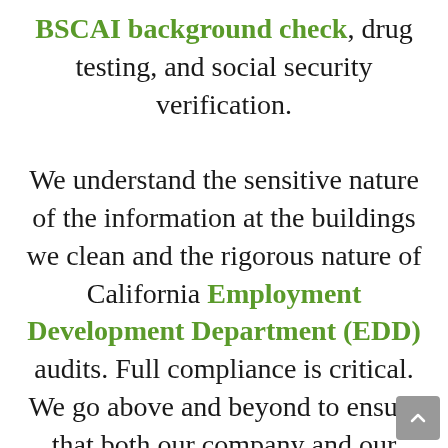BSCAI background check, drug testing, and social security verification.

We understand the sensitive nature of the information at the buildings we clean and the rigorous nature of California Employment Development Department (EDD) audits. Full compliance is critical. We go above and beyond to ensure that both our company and our employees comply with the law. You can rest easy